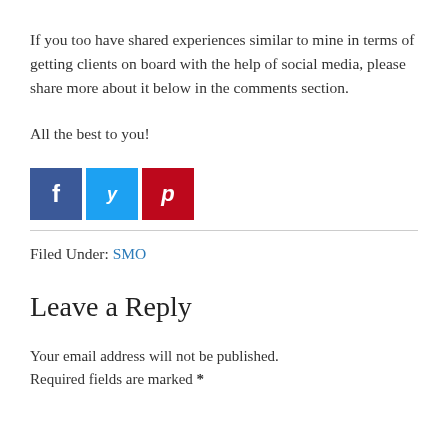If you too have shared experiences similar to mine in terms of getting clients on board with the help of social media, please share more about it below in the comments section.
All the best to you!
[Figure (other): Three social media share buttons: Facebook (dark blue, 'f'), Twitter (light blue, bird icon), Pinterest (red, 'p')]
Filed Under: SMO
Leave a Reply
Your email address will not be published. Required fields are marked *